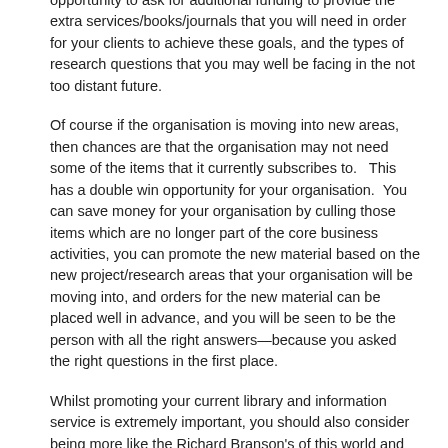opportunity to ask for additional funding to provide the extra services/books/journals that you will need in order for your clients to achieve these goals, and the types of research questions that you may well be facing in the not too distant future.
Of course if the organisation is moving into new areas, then chances are that the organisation may not need some of the items that it currently subscribes to.   This has a double win opportunity for your organisation.  You can save money for your organisation by culling those items which are no longer part of the core business activities, you can promote the new material based on the new project/research areas that your organisation will be moving into, and orders for the new material can be placed well in advance, and you will be seen to be the person with all the right answers―because you asked the right questions in the first place.
Whilst promoting your current library and information service is extremely important, you should also consider being more like the Richard Branson's of this world and ask the clever questions and open up the new marketing opportunities for yourself and your organisations library and information service..
Marketing Ourselves
Most people's image of a librarian is of a stereotypical “elderly” lady with greying hair, usually tied back into a bun, with glasses